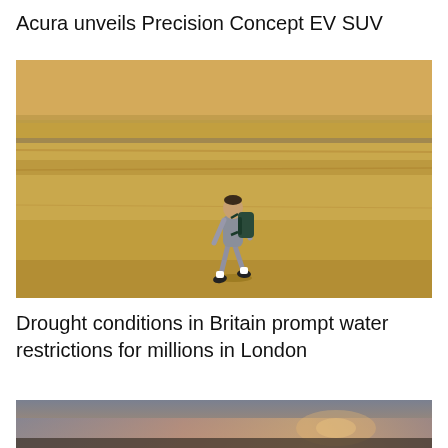Acura unveils Precision Concept EV SUV
[Figure (photo): A person wearing a grey t-shirt, grey shorts, white socks and dark shoes carrying a dark backpack walks across a dry, golden-brown grass field. A faint path or road is visible in the mid-ground. The scene suggests drought conditions.]
Drought conditions in Britain prompt water restrictions for millions in London
[Figure (photo): Hazy, smoky dusk sky with warm pinkish-orange and grey tones, suggesting atmospheric haze or wildfire smoke conditions.]